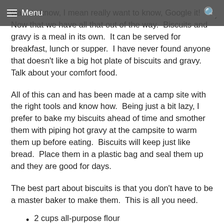want to know, I mean really want to know, Google it!
Now that we have all that out of the way.  Biscuits and gravy is a meal in its own.  It can be served for breakfast, lunch or supper.  I have never found anyone that doesn't like a big hot plate of biscuits and gravy.  Talk about your comfort food.
Menu
All of this can and has been made at a camp site with the right tools and know how.  Being just a bit lazy, I prefer to bake my biscuits ahead of time and smother them with piping hot gravy at the campsite to warm them up before eating.  Biscuits will keep just like bread.  Place them in a plastic bag and seal them up and they are good for days.
The best part about biscuits is that you don't have to be a master baker to make them.  This is all you need.
2 cups all-purpose flour